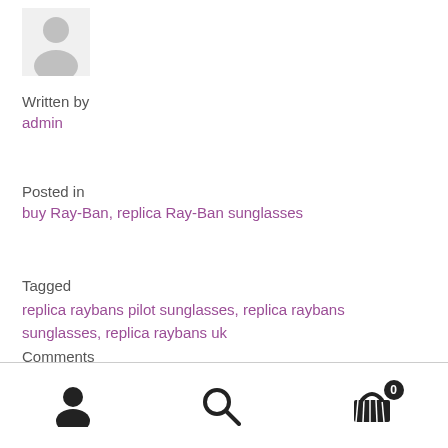[Figure (illustration): Grey default user avatar silhouette icon]
Written by
admin
Posted in
buy Ray-Ban, replica Ray-Ban sunglasses
Tagged
replica raybans pilot sunglasses, replica raybans sunglasses, replica raybans uk
Comments
Leave a comment
User icon | Search icon | Cart icon with badge 0